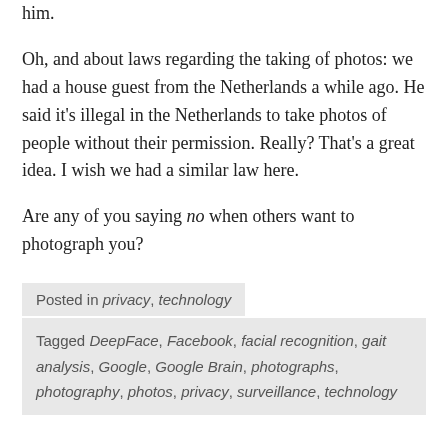him.
Oh, and about laws regarding the taking of photos: we had a house guest from the Netherlands a while ago. He said it's illegal in the Netherlands to take photos of people without their permission. Really? That's a great idea. I wish we had a similar law here.
Are any of you saying no when others want to photograph you?
Posted in privacy, technology
Tagged DeepFace, Facebook, facial recognition, gait analysis, Google, Google Brain, photographs, photography, photos, privacy, surveillance, technology
An exaltation of links!
I've come across dozens of interesting things to share with you